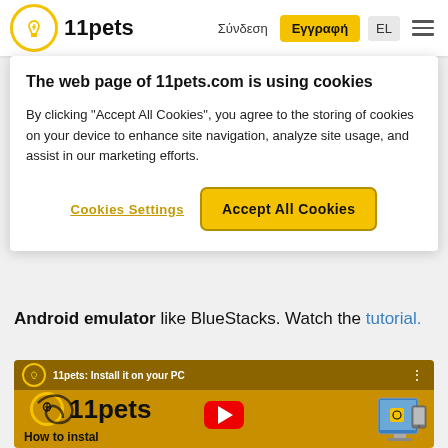[Figure (screenshot): 11pets website navigation bar with logo, Σύνδεση link, Εγγραφή button, EL language selector, and hamburger menu icon]
[Figure (screenshot): Cookie consent dialog: title 'The web page of 11pets.com is using cookies', body text about cookies, with 'Cookies Settings' and 'Accept All Cookies' buttons]
Android emulator like BlueStacks. Watch the tutorial.
[Figure (screenshot): YouTube video thumbnail for '11pets: Install it on your PC' showing the 11pets logo on a golden background with a play button and a PC/tablet graphic]